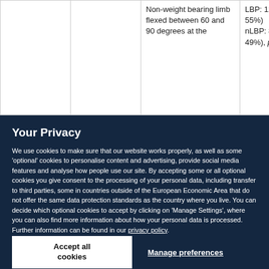|  |  | Non-weight bearing limb flexed between 60 and 90 degrees at the | LBP: 122% (± 55%)
nLBP: 87.8% (± 49%), p = .03 |
Your Privacy
We use cookies to make sure that our website works properly, as well as some 'optional' cookies to personalise content and advertising, provide social media features and analyse how people use our site. By accepting some or all optional cookies you give consent to the processing of your personal data, including transfer to third parties, some in countries outside of the European Economic Area that do not offer the same data protection standards as the country where you live. You can decide which optional cookies to accept by clicking on 'Manage Settings', where you can also find more information about how your personal data is processed. Further information can be found in our privacy policy.
Accept all cookies
Manage preferences